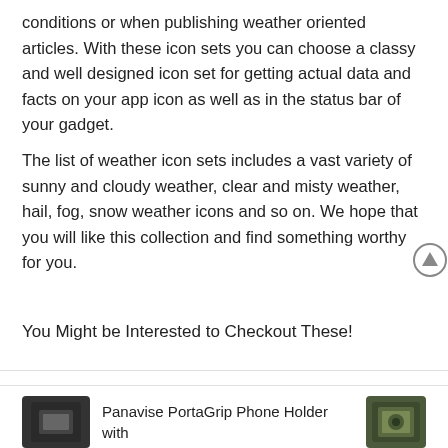conditions or when publishing weather oriented articles. With these icon sets you can choose a classy and well designed icon set for getting actual data and facts on your app icon as well as in the status bar of your gadget.
The list of weather icon sets includes a vast variety of sunny and cloudy weather, clear and misty weather, hail, fog, snow weather icons and so on. We hope that you will like this collection and find something worthy for you.
You Might be Interested to Checkout These!
Panavise PortaGrip Phone Holder with